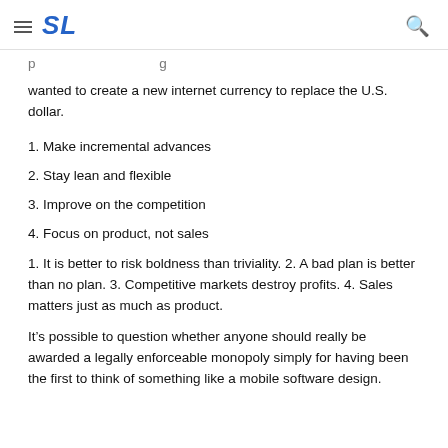SL
wanted to create a new internet currency to replace the U.S. dollar.
1. Make incremental advances
2. Stay lean and flexible
3. Improve on the competition
4. Focus on product, not sales
1. It is better to risk boldness than triviality. 2. A bad plan is better than no plan. 3. Competitive markets destroy profits. 4. Sales matters just as much as product.
It’s possible to question whether anyone should really be awarded a legally enforceable monopoly simply for having been the first to think of something like a mobile software design.